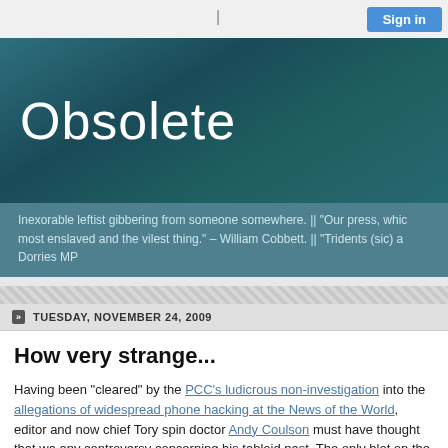Sign in
Obsolete
Inexorable leftist gibbering from someone somewhere. || "Our press, whic most enslaved and the vilest thing." – William Cobbett. || "Tridents (sic) a Dorries MP
TUESDAY, NOVEMBER 24, 2009
How very strange...
Having been "cleared" by the PCC's ludicrous non-investigation into the allegations of widespread phone hacking at the News of the World, editor and now chief Tory spin doctor Andy Coulson must have thought that wa any controversy concerning his tabloid past. The only blot on the horizon Driscoll, a former sports reporter on the Screws, who Coulson sacked wh off sick for stress-related depression. Driscoll, quite understandably, took International to a tribunal, alleging that the route cause of his illness was bullying he had suffered at the paper, led by none other than Coulson.
The tribunal decided back in December that Driscoll had been both unfai